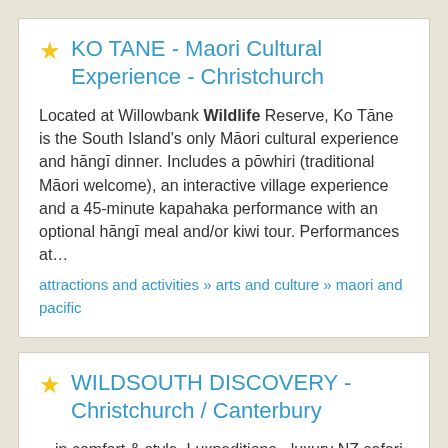KO TANE - Maori Cultural Experience - Christchurch
Located at Willowbank Wildlife Reserve, Ko Tāne is the South Island's only Māori cultural experience and hāngī dinner. Includes a pōwhiri (traditional Māori welcome), an interactive village experience and a 45-minute kapahaka performance with an optional hāngī meal and/or kiwi tour. Performances at…
attractions and activities » arts and culture » maori and pacific
WILDSOUTH DISCOVERY - Christchurch / Canterbury
…in comfort & style. Luxpeditions - luxury NZ safari